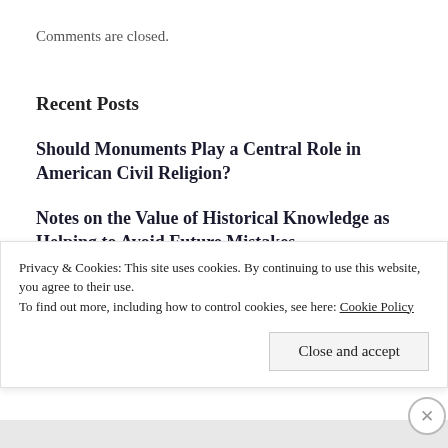Comments are closed.
Recent Posts
Should Monuments Play a Central Role in American Civil Religion?
Notes on the Value of Historical Knowledge as Helping to Avoid Future Mistakes
To… S… L… W… Hi…
Privacy & Cookies: This site uses cookies. By continuing to use this website, you agree to their use.
To find out more, including how to control cookies, see here: Cookie Policy
Close and accept